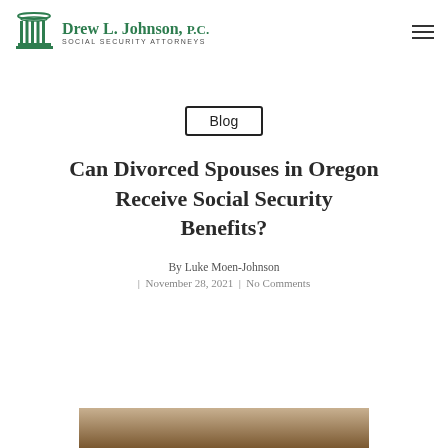Drew L. Johnson, P.C. SOCIAL SECURITY ATTORNEYS
Blog
Can Divorced Spouses in Oregon Receive Social Security Benefits?
By Luke Moen-Johnson
| November 28, 2021 | No Comments
[Figure (photo): Photo of a couple or individual related to the article topic, partially visible at the bottom of the page]